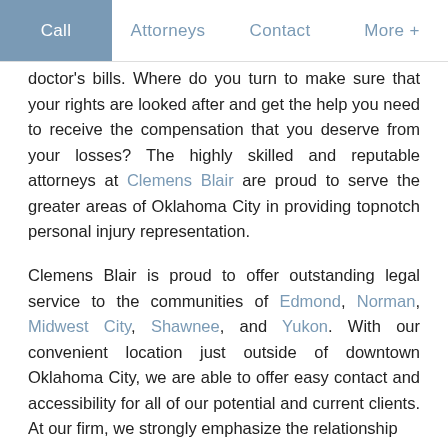Call | Attorneys | Contact | More +
doctor's bills. Where do you turn to make sure that your rights are looked after and get the help you need to receive the compensation that you deserve from your losses? The highly skilled and reputable attorneys at Clemens Blair are proud to serve the greater areas of Oklahoma City in providing topnotch personal injury representation.
Clemens Blair is proud to offer outstanding legal service to the communities of Edmond, Norman, Midwest City, Shawnee, and Yukon. With our convenient location just outside of downtown Oklahoma City, we are able to offer easy contact and accessibility for all of our potential and current clients. At our firm, we strongly emphasize the relationship